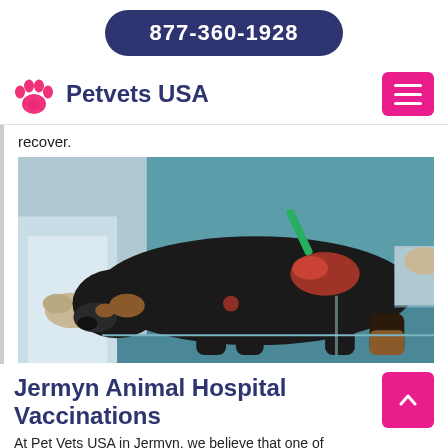877-360-1928
Petvets USA
recover.
[Figure (photo): A black and tan dog lying on a veterinary examination table being treated by a person in a white lab coat and medical gloves. The dog appears injured with visible wounds.]
Jermyn Animal Hospital Vaccinations
At Pet Vets USA in Jermyn, we believe that one of